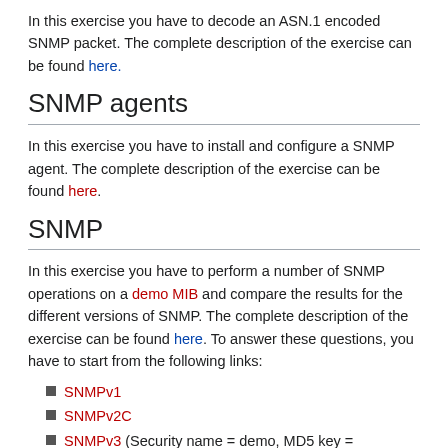In this exercise you have to decode an ASN.1 encoded SNMP packet. The complete description of the exercise can be found here.
SNMP agents
In this exercise you have to install and configure a SNMP agent. The complete description of the exercise can be found here.
SNMP
In this exercise you have to perform a number of SNMP operations on a demo MIB and compare the results for the different versions of SNMP. The complete description of the exercise can be found here. To answer these questions, you have to start from the following links:
SNMPv1
SNMPv2C
SNMPv3 (Security name = demo, MD5 key = abcdefghi, DES key = abcdefghi)
The configuration for this exercise is explained here.
Run a management application
In this exercise you have to install and configure a management application (like MRTG/Cacti/Nagios or Zenoss) and write a report. The complete